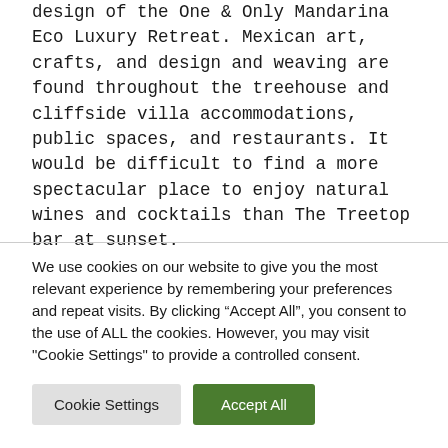design of the One & Only Mandarina Eco Luxury Retreat. Mexican art, crafts, and design and weaving are found throughout the treehouse and cliffside villa accommodations, public spaces, and restaurants. It would be difficult to find a more spectacular place to enjoy natural wines and cocktails than The Treetop bar at sunset.
We use cookies on our website to give you the most relevant experience by remembering your preferences and repeat visits. By clicking “Accept All”, you consent to the use of ALL the cookies. However, you may visit "Cookie Settings" to provide a controlled consent.
Cookie Settings | Accept All